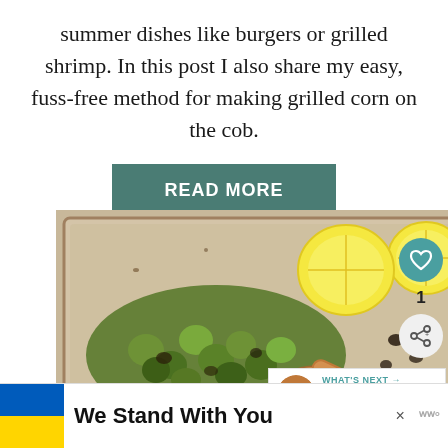summer dishes like burgers or grilled shrimp. In this post I also share my easy, fuss-free method for making grilled corn on the cob.
READ MORE
[Figure (photo): Overhead view of roasted brussels sprouts with lemon halves and a wooden spoon on a metal baking sheet]
[Figure (infographic): Social sidebar with heart/like button showing count of 1, and share button]
[Figure (photo): What's Next panel showing Million Dollar Bacon with a circular thumbnail of bacon]
We Stand With You